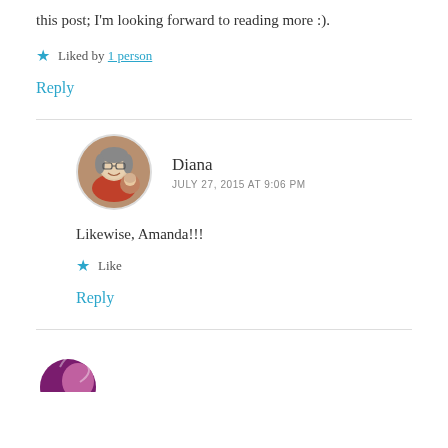this post; I'm looking forward to reading more :).
★ Liked by 1 person
Reply
Diana
JULY 27, 2015 AT 9:06 PM
Likewise, Amanda!!!
★ Like
Reply